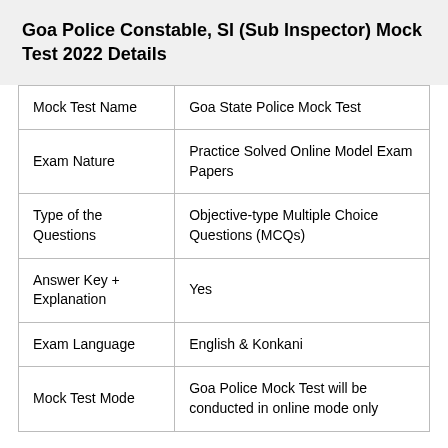Goa Police Constable, SI (Sub Inspector) Mock Test 2022 Details
| Mock Test Name | Goa State Police Mock Test |
| Exam Nature | Practice Solved Online Model Exam Papers |
| Type of the Questions | Objective-type Multiple Choice Questions (MCQs) |
| Answer Key + Explanation | Yes |
| Exam Language | English & Konkani |
| Mock Test Mode | Goa Police Mock Test will be conducted in online mode only |